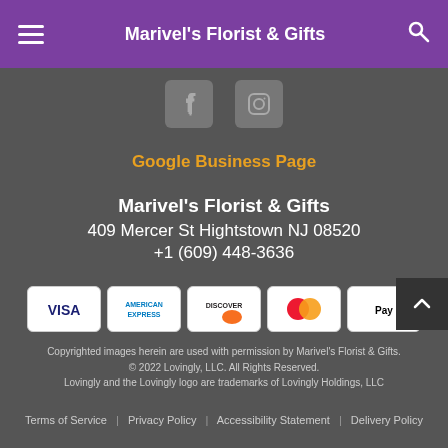Marivel's Florist & Gifts
[Figure (illustration): Social media icons: Facebook and Instagram]
Google Business Page
Marivel's Florist & Gifts
409 Mercer St Hightstown NJ 08520
+1 (609) 448-3636
[Figure (illustration): Payment method icons: Visa, American Express, Discover, Mastercard, Apple Pay]
Copyrighted images herein are used with permission by Marivel's Florist & Gifts.
© 2022 Lovingly, LLC. All Rights Reserved.
Lovingly and the Lovingly logo are trademarks of Lovingly Holdings, LLC
Terms of Service | Privacy Policy | Accessibility Statement | Delivery Policy